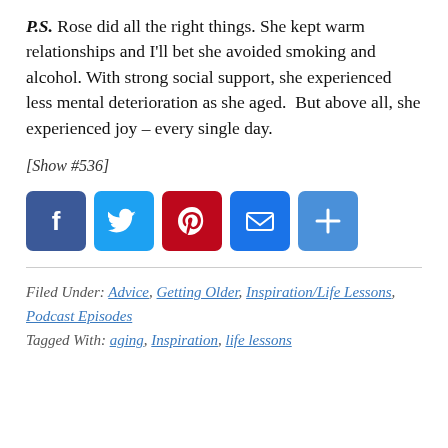P.S. Rose did all the right things. She kept warm relationships and I'll bet she avoided smoking and alcohol. With strong social support, she experienced less mental deterioration as she aged.  But above all, she experienced joy – every single day.
[Show #536]
[Figure (infographic): Row of five social sharing icon buttons: Facebook (blue), Twitter (light blue), Pinterest (red), Email (blue), Share/Add (blue)]
Filed Under: Advice, Getting Older, Inspiration/Life Lessons, Podcast Episodes
Tagged With: aging, Inspiration, life lessons